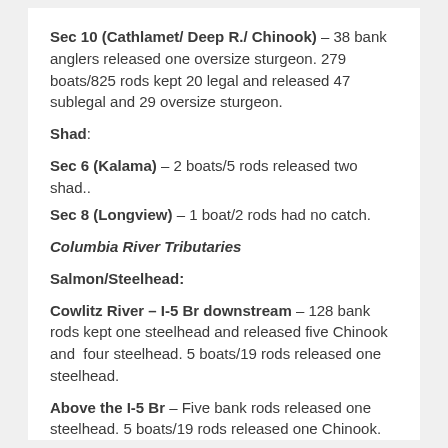Sec 10 (Cathlamet/ Deep R./ Chinook) – 38 bank anglers released one oversize sturgeon. 279 boats/825 rods kept 20 legal and released 47 sublegal and 29 oversize sturgeon.
Shad:
Sec 6 (Kalama) – 2 boats/5 rods released two shad..
Sec 8 (Longview) – 1 boat/2 rods had no catch.
Columbia River Tributaries
Salmon/Steelhead:
Cowlitz River – I-5 Br downstream – 128 bank rods kept one steelhead and released five Chinook and  four steelhead. 5 boats/19 rods released one steelhead.
Above the I-5 Br – Five bank rods released one steelhead. 5 boats/19 rods released one Chinook.